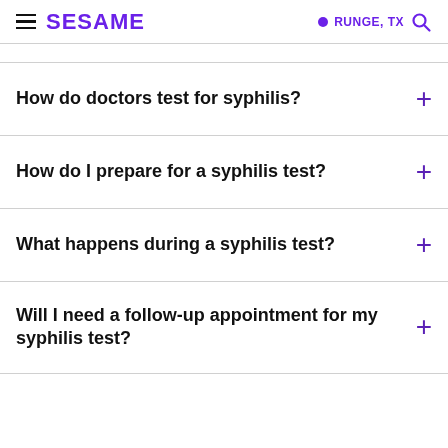SESAME | RUNGE, TX
How do doctors test for syphilis?
How do I prepare for a syphilis test?
What happens during a syphilis test?
Will I need a follow-up appointment for my syphilis test?